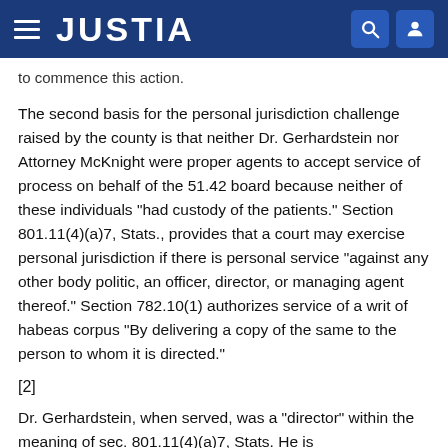JUSTIA
to commence this action.
The second basis for the personal jurisdiction challenge raised by the county is that neither Dr. Gerhardstein nor Attorney McKnight were proper agents to accept service of process on behalf of the 51.42 board because neither of these individuals "had custody of the patients." Section 801.11(4)(a)7, Stats., provides that a court may exercise personal jurisdiction if there is personal service "against any other body politic, an officer, director, or managing agent thereof." Section 782.10(1) authorizes service of a writ of habeas corpus "By delivering a copy of the same to the person to whom it is directed."
[2]
Dr. Gerhardstein, when served, was a "director" within the meaning of sec. 801.11(4)(a)7, Stats. He is